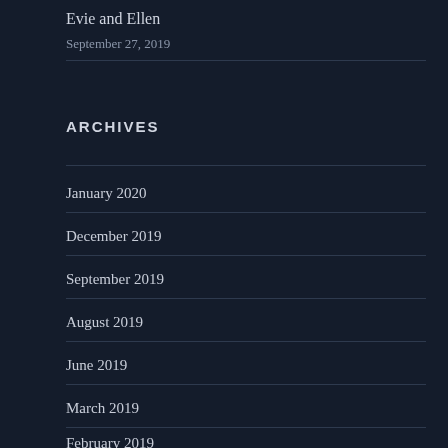Evie and Ellen
September 27, 2019
ARCHIVES
January 2020
December 2019
September 2019
August 2019
June 2019
March 2019
February 2019